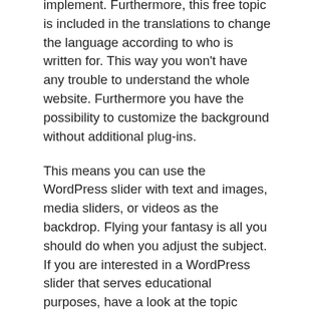implement. Furthermore, this free topic is included in the translations to change the language according to who is written for. This way you won't have any trouble to understand the whole website. Furthermore you have the possibility to customize the background without additional plug-ins.
This means you can use the WordPress slider with text and images, media sliders, or videos as the backdrop. Flying your fantasy is all you should do when you adjust the subject. If you are interested in a WordPress slider that serves educational purposes, have a look at the topic Akademisch.
Featuring a full-width, eye-catching slide control for free downloading, this easy to use WordPress topic supports focussed authoring to meet your viewing needs for your articles or class. One of the best free WordPress themes with a slider on the topic slot, Academic is full of great choices and great functions to increase ease of use.
A further surprise is the introduction of the latest free WordPress topic, such as partially updating and validating. Moreover, this easy slider WordPress topic is fully compliant with the best WordPress plug-ins such as JetPack and Contact